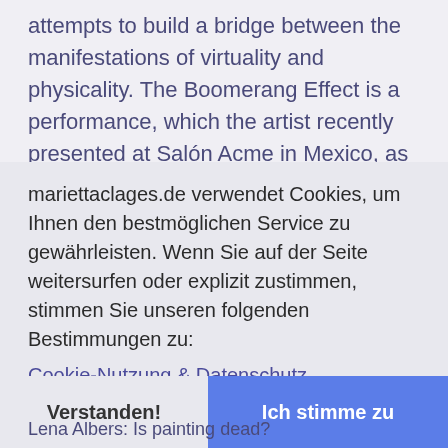attempts to build a bridge between the manifestations of virtuality and physicality. The Boomerang Effect is a performance, which the artist recently presented at Salón Acme in Mexico, as part of its' 8th edition. A documentation
mariettaclages.de verwendet Cookies, um Ihnen den bestmöglichen Service zu gewährleisten. Wenn Sie auf der Seite weitersurfen oder explizit zustimmen, stimmen Sie unseren folgenden Bestimmungen zu:
Cookie-Nutzung & Datenschutz
Verstanden!
Ich stimme zu
Lena Albers: Is painting dead?